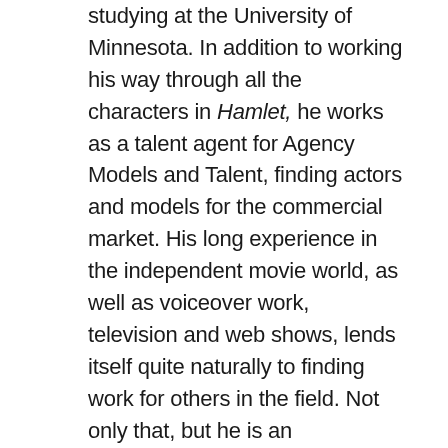studying at the University of Minnesota. In addition to working his way through all the characters in Hamlet, he works as a talent agent for Agency Models and Talent, finding actors and models for the commercial market. His long experience in the independent movie world, as well as voiceover work, television and web shows, lends itself quite naturally to finding work for others in the field. Not only that, but he is an accomplished puppeteer and loves working with puppet teams to create webisodes and live comedy shows. These ain't your typical kid-friendly puppets shows, however, as Hubbell prefers